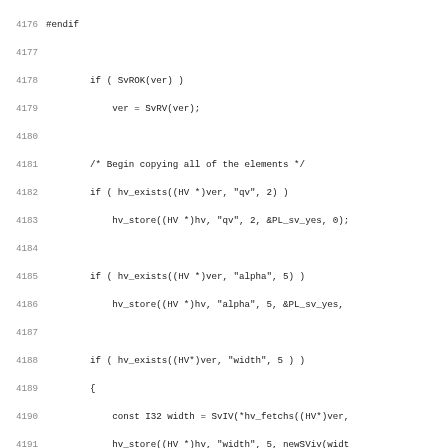Source code listing, lines 4176-4208, showing Perl/C code for copying version hash elements